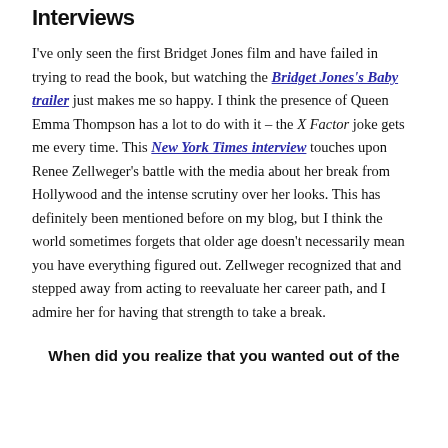Interviews
I've only seen the first Bridget Jones film and have failed in trying to read the book, but watching the Bridget Jones's Baby trailer just makes me so happy. I think the presence of Queen Emma Thompson has a lot to do with it – the X Factor joke gets me every time. This New York Times interview touches upon Renee Zellweger's battle with the media about her break from Hollywood and the intense scrutiny over her looks. This has definitely been mentioned before on my blog, but I think the world sometimes forgets that older age doesn't necessarily mean you have everything figured out. Zellweger recognized that and stepped away from acting to reevaluate her career path, and I admire her for having that strength to take a break.
When did you realize that you wanted out of the